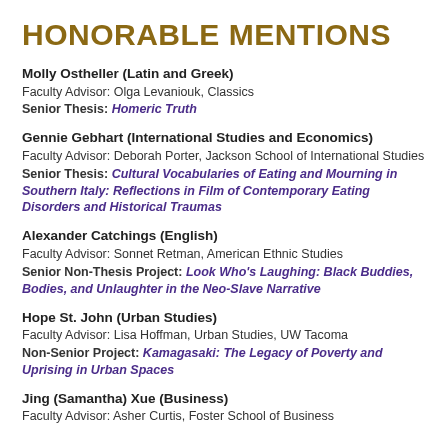HONORABLE MENTIONS
Molly Ostheller (Latin and Greek)
Faculty Advisor: Olga Levaniouk, Classics
Senior Thesis: Homeric Truth
Gennie Gebhart (International Studies and Economics)
Faculty Advisor: Deborah Porter, Jackson School of International Studies
Senior Thesis: Cultural Vocabularies of Eating and Mourning in Southern Italy: Reflections in Film of Contemporary Eating Disorders and Historical Traumas
Alexander Catchings (English)
Faculty Advisor: Sonnet Retman, American Ethnic Studies
Senior Non-Thesis Project: Look Who's Laughing: Black Buddies, Bodies, and Unlaughter in the Neo-Slave Narrative
Hope St. John (Urban Studies)
Faculty Advisor: Lisa Hoffman, Urban Studies, UW Tacoma
Non-Senior Project: Kamagasaki: The Legacy of Poverty and Uprising in Urban Spaces
Jing (Samantha) Xue (Business)
Faculty Advisor: Asher Curtis, Foster School of Business